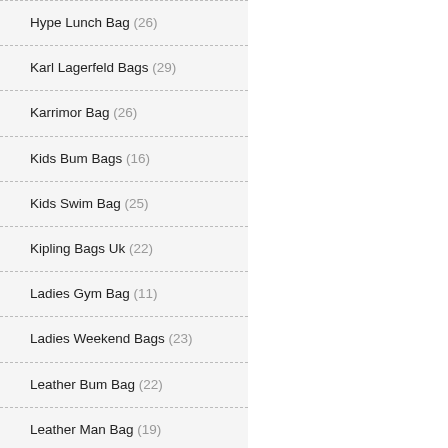Hype Lunch Bag (26)
Karl Lagerfeld Bags (29)
Karrimor Bag (26)
Kids Bum Bags (16)
Kids Swim Bag (25)
Kipling Bags Uk (22)
Ladies Gym Bag (11)
Ladies Weekend Bags (23)
Leather Bum Bag (22)
Leather Man Bag (19)
Louboutin Bag (24)
Marks And Spencer Bags (8)
Maternity Bag (15)
Mens Designer Bags (15)
Mens Holdall Bag (24)